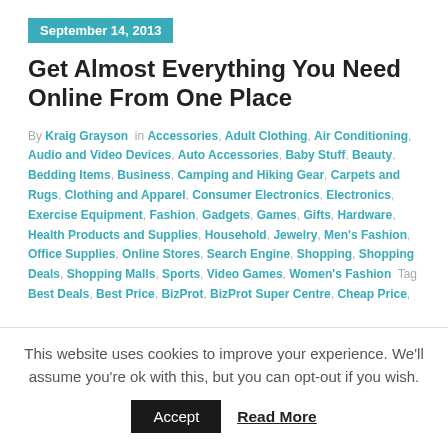September 14, 2013
Get Almost Everything You Need Online From One Place
By Kraig Grayson in Accessories, Adult Clothing, Air Conditioning, Audio and Video Devices, Auto Accessories, Baby Stuff, Beauty, Bedding Items, Business, Camping and Hiking Gear, Carpets and Rugs, Clothing and Apparel, Consumer Electronics, Electronics, Exercise Equipment, Fashion, Gadgets, Games, Gifts, Hardware, Health Products and Supplies, Household, Jewelry, Men's Fashion, Office Supplies, Online Stores, Search Engine, Shopping, Shopping Deals, Shopping Malls, Sports, Video Games, Women's Fashion Tag Best Deals, Best Price, BizProt, BizProt Super Centre, Cheap Price,
This website uses cookies to improve your experience. We'll assume you're ok with this, but you can opt-out if you wish.